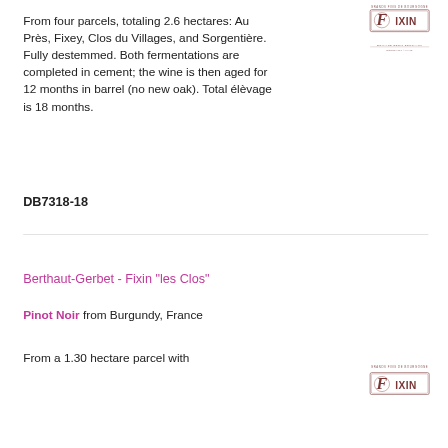From four parcels, totaling 2.6 hectares: Au Près, Fixey, Clos du Villages, and Sorgentière. Fully destemmed. Both fermentations are completed in cement; the wine is then aged for 12 months in barrel (no new oak). Total élèvage is 18 months.
[Figure (logo): Fixin wine label logo with decorative border and text 'GRANDS FINS DE BOURGOGNE' and 'DOMAINE DENIS BERTHAUT']
DB7318-18
Berthaut-Gerbet - Fixin "les Clos"
Pinot Noir from Burgundy, France
From a 1.30 hectare parcel with
[Figure (logo): Fixin wine label logo with decorative border, second instance for Berthaut-Gerbet section]